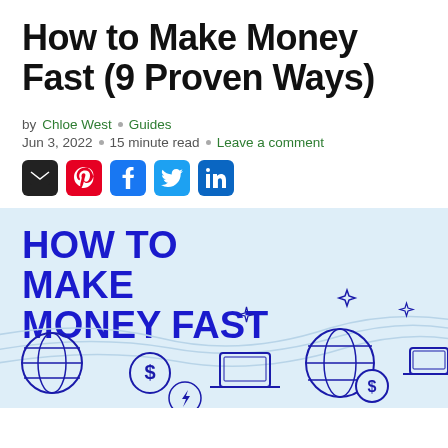How to Make Money Fast (9 Proven Ways)
by Chloe West · Guides
Jun 3, 2022 · 15 minute read · Leave a comment
[Figure (infographic): Infographic banner with bold blue text 'HOW TO MAKE MONEY FAST' on a light blue background with decorative icons including globe, dollar sign, laptop, and sparkle shapes]